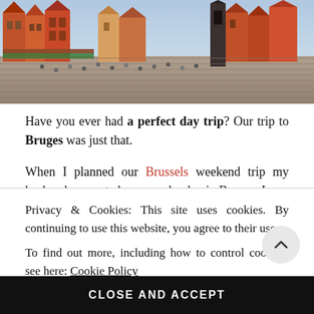[Figure (photo): Aerial/panoramic view of a historic European market square (Bruges/Belgium) showing colorful stepped-gable facades, tourists, and market stalls.]
Have you ever had a perfect day trip? Our trip to Bruges was just that.
When I planned our Brussels weekend trip my husband suggested we spend a day in Bruges. I was against it since it was just a short trip but I'm so glad that he
Privacy & Cookies: This site uses cookies. By continuing to use this website, you agree to their use.
To find out more, including how to control cookies, see here: Cookie Policy
CLOSE AND ACCEPT
was packed full with tourists and somehow after